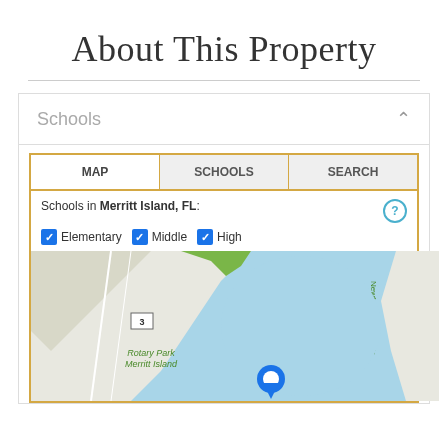About This Property
Schools
[Figure (screenshot): Schools widget with MAP, SCHOOLS, SEARCH tabs, checkboxes for Elementary, Middle, High, and a map showing Merritt Island, FL area with Rotary Park, Sykes Creek, Newfound Harbor Dr labels and a location pin.]